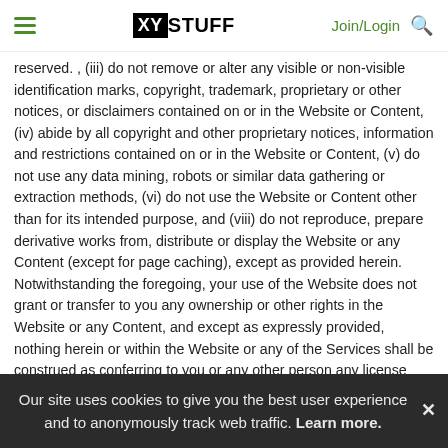XY STUFF | Join/Login
reserved. , (iii) do not remove or alter any visible or non-visible identification marks, copyright, trademark, proprietary or other notices, or disclaimers contained on or in the Website or Content, (iv) abide by all copyright and other proprietary notices, information and restrictions contained on or in the Website or Content, (v) do not use any data mining, robots or similar data gathering or extraction methods, (vi) do not use the Website or Content other than for its intended purpose, and (viii) do not reproduce, prepare derivative works from, distribute or display the Website or any Content (except for page caching), except as provided herein. Notwithstanding the foregoing, your use of the Website does not grant or transfer to you any ownership or other rights in the Website or any Content, and except as expressly provided, nothing herein or within the Website or any of the Services shall be construed as conferring to you or any other person any license under any of Chick's or any third party's intellectual property rights (whether by estoppel, implication, waiver, or otherwise). Except for your own Submissions, or as otherwise expressly
Our site uses cookies to give you the best user experience and to anonymously track web traffic. Learn more.